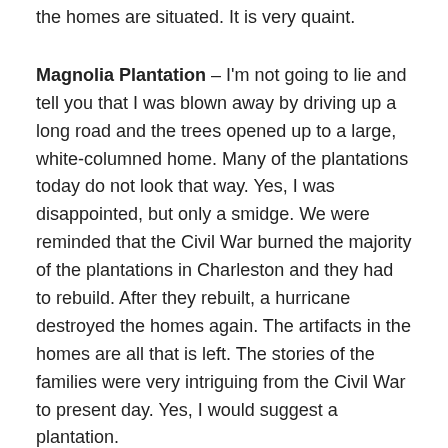the homes are situated. It is very quaint.
Magnolia Plantation – I'm not going to lie and tell you that I was blown away by driving up a long road and the trees opened up to a large, white-columned home. Many of the plantations today do not look that way. Yes, I was disappointed, but only a smidge. We were reminded that the Civil War burned the majority of the plantations in Charleston and they had to rebuild. After they rebuilt, a hurricane destroyed the homes again. The artifacts in the homes are all that is left. The stories of the families were very intriguing from the Civil War to present day. Yes, I would suggest a plantation.
The Pineapple Fountain – I'm not going to spoil it for you and tell you why the pineapple is so important to Charleston. Many of you may already know. I saw